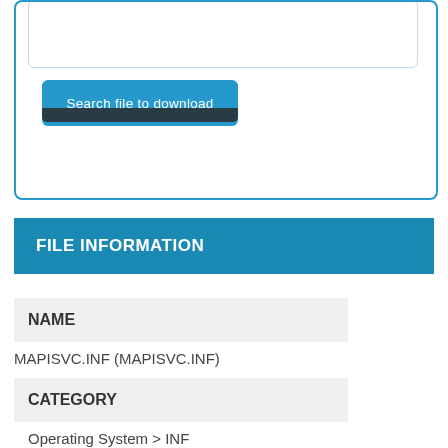[Figure (screenshot): Search input box UI element with rounded border]
Search file to download
FILE INFORMATION
NAME
MAPISVC.INF (MAPISVC.INF)
CATEGORY
Operating System > INF
DESCRIPTION
[Services]
MSEMS-Microsoft Exchange Server